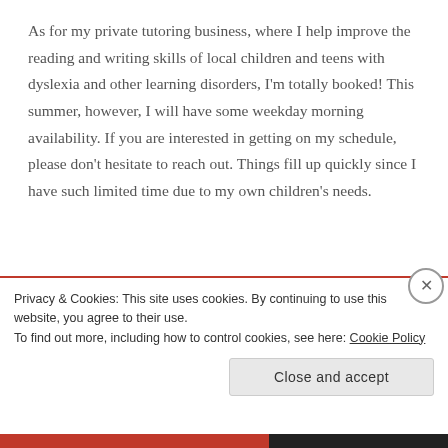As for my private tutoring business, where I help improve the reading and writing skills of local children and teens with dyslexia and other learning disorders, I'm totally booked! This summer, however, I will have some weekday morning availability. If you are interested in getting on my schedule, please don't hesitate to reach out. Things fill up quickly since I have such limited time due to my own children's needs.
Happy New Year to all of you. I wish each and every...
Privacy & Cookies: This site uses cookies. By continuing to use this website, you agree to their use.
To find out more, including how to control cookies, see here: Cookie Policy
Close and accept